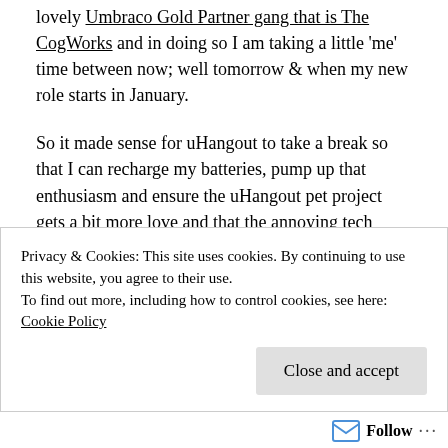lovely Umbraco Gold Partner gang that is The CogWorks and in doing so I am taking a little 'me' time between now; well tomorrow & when my new role starts in January.
So it made sense for uHangout to take a break so that I can recharge my batteries, pump up that enthusiasm and ensure the uHangout pet project gets a bit more love and that the annoying tech issues become less frequent than they currently are!
So in the new year I am so happy to announce that I
Privacy & Cookies: This site uses cookies. By continuing to use this website, you agree to their use.
To find out more, including how to control cookies, see here: Cookie Policy